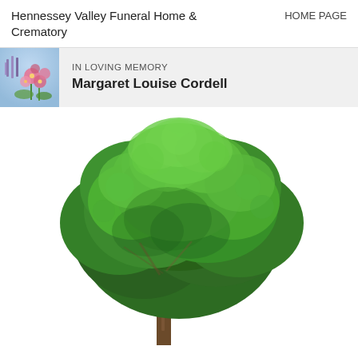Hennessey Valley Funeral Home & Crematory
HOME PAGE
IN LOVING MEMORY
Margaret Louise Cordell
[Figure (photo): Large green deciduous tree with full leafy canopy against white background]
[Figure (photo): Small floral thumbnail image with pink flowers and lavender, used as memorial thumbnail]